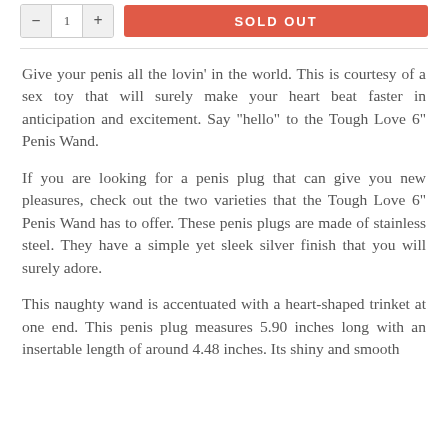[Figure (other): Quantity control buttons (minus, 1, plus) and a red SOLD OUT button]
Give your penis all the lovin' in the world. This is courtesy of a sex toy that will surely make your heart beat faster in anticipation and excitement. Say "hello" to the Tough Love 6" Penis Wand.
If you are looking for a penis plug that can give you new pleasures, check out the two varieties that the Tough Love 6" Penis Wand has to offer. These penis plugs are made of stainless steel. They have a simple yet sleek silver finish that you will surely adore.
This naughty wand is accentuated with a heart-shaped trinket at one end. This penis plug measures 5.90 inches long with an insertable length of around 4.48 inches. Its shiny and smooth